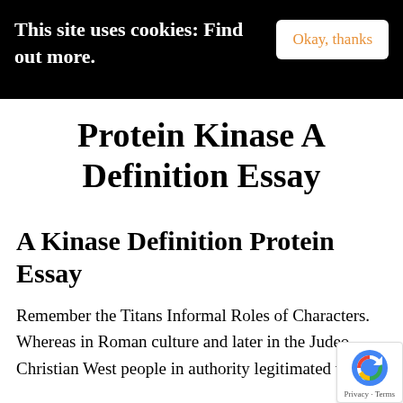This site uses cookies: Find out more.
Protein Kinase A Definition Essay
A Kinase Definition Protein Essay
Remember the Titans Informal Roles of Characters. Whereas in Roman culture and later in the Judeo-Christian West people in authority legitimated the